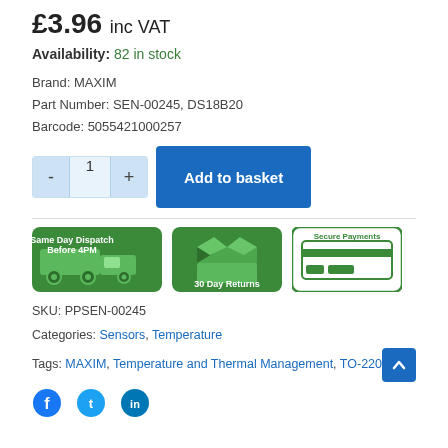£3.96 inc VAT
Availability: 82 in stock
Brand: MAXIM
Part Number: SEN-00245, DS18B20
Barcode: 5055421000257
[Figure (infographic): Three green badge icons: Same Day Dispatch Before 4PM (truck), 30 Day Returns (open box), Secure Payments (credit card)]
SKU: PPSEN-00245
Categories: Sensors, Temperature
Tags: MAXIM, Temperature and Thermal Management, TO-220